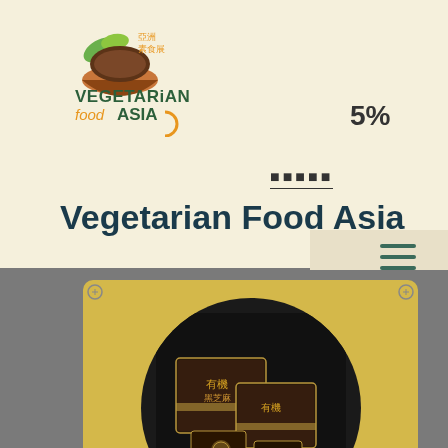[Figure (logo): Vegetarian Food Asia logo with leaf and bowl icon, Chinese characters 亚洲素食展]
Vegetarian Food Asia
[Figure (photo): Product image showing dark brown packaged food items (sesame/black sesame blocks) arranged in a circular display on a gold background, within a circular frame]
[Figure (infographic): Social media contact buttons: Facebook (blue), Email (magenta), WhatsApp (green)]